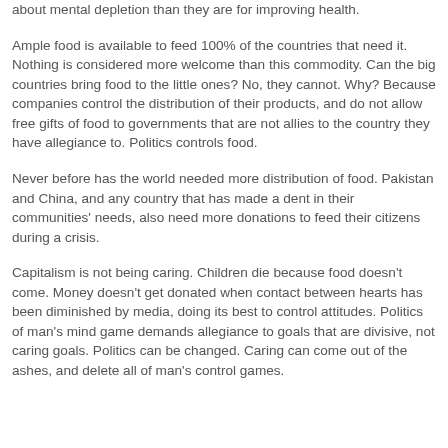about mental depletion than they are for improving health.
Ample food is available to feed 100% of the countries that need it. Nothing is considered more welcome than this commodity. Can the big countries bring food to the little ones? No, they cannot. Why? Because companies control the distribution of their products, and do not allow free gifts of food to governments that are not allies to the country they have allegiance to. Politics controls food.
Never before has the world needed more distribution of food. Pakistan and China, and any country that has made a dent in their communities' needs, also need more donations to feed their citizens during a crisis.
Capitalism is not being caring. Children die because food doesn't come. Money doesn't get donated when contact between hearts has been diminished by media, doing its best to control attitudes. Politics of man's mind game demands allegiance to goals that are divisive, not caring goals. Politics can be changed. Caring can come out of the ashes, and delete all of man's control games.